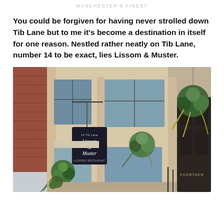MANCHESTER'S FINEST
You could be forgiven for having never strolled down Tib Lane but to me it's become a destination in itself for one reason. Nestled rather neatly on Tib Lane, number 14 to be exact, lies Lissom & Muster.
[Figure (photo): Exterior of Lissom & Muster restaurant at 14 Tib Lane, Manchester. A cream/beige Victorian building facade with a dark hanging sign reading 'Lissom & Muster', hanging basket plants with greenery, a dark front door with 'FOURTEEN' text, and red brick building visible to the left.]